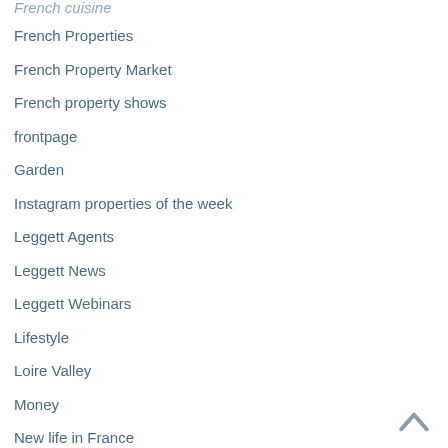French cuisine
French Properties
French Property Market
French property shows
frontpage
Garden
Instagram properties of the week
Leggett Agents
Leggett News
Leggett Webinars
Lifestyle
Loire Valley
Money
New life in France
Normandy